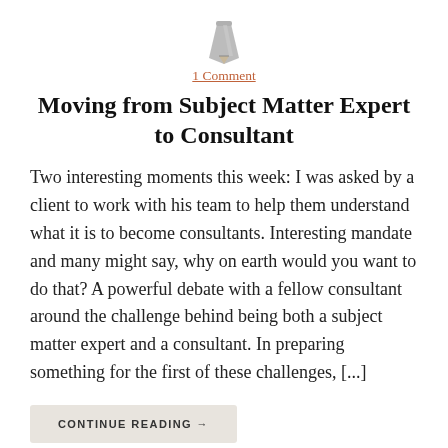[Figure (illustration): Gray pencil icon centered at top of page]
1 Comment
Moving from Subject Matter Expert to Consultant
Two interesting moments this week: I was asked by a client to work with his team to help them understand what it is to become consultants. Interesting mandate and many might say, why on earth would you want to do that? A powerful debate with a fellow consultant around the challenge behind being both a subject matter expert and a consultant. In preparing something for the first of these challenges, [...]
CONTINUE READING →